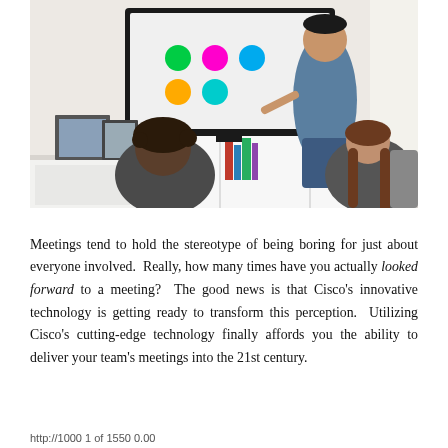[Figure (photo): Three people in a modern office/living space. A man is sitting on a white shelf unit pointing at a large wall-mounted display screen showing colorful circles (green, magenta, teal, orange). Two other people sit facing the screen — one with curly hair seen from behind, one woman with long brown hair. Framed pictures are on white shelves in the background.]
Meetings tend to hold the stereotype of being boring for just about everyone involved. Really, how many times have you actually looked forward to a meeting? The good news is that Cisco's innovative technology is getting ready to transform this perception. Utilizing Cisco's cutting-edge technology finally affords you the ability to deliver your team's meetings into the 21st century.
http://1000 1 of 1550 0.00